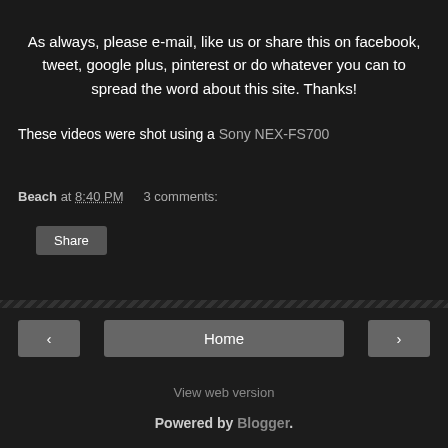As always, please e-mail, like us or share this on facebook, tweet, google plus, pinterest or do whatever you can to spread the word about this site. Thanks!
These videos were shot using a Sony NEX-FS700
Beach at 8:40 PM   3 comments:
Share
Home
View web version
Powered by Blogger.